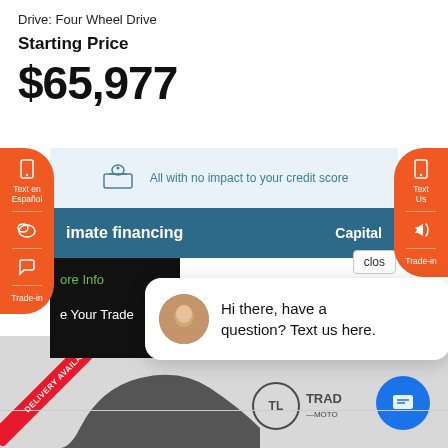Drive: Four Wheel Drive
Starting Price
$65,977
All with no impact to your credit score
imate financing  Capital
clos
ore Info
e Your Trade
Hi there, have a question? Text us here.
[Figure (screenshot): Car dealership website screenshot showing delivery available ribbon and Trade Motors logo on a vehicle listing page]